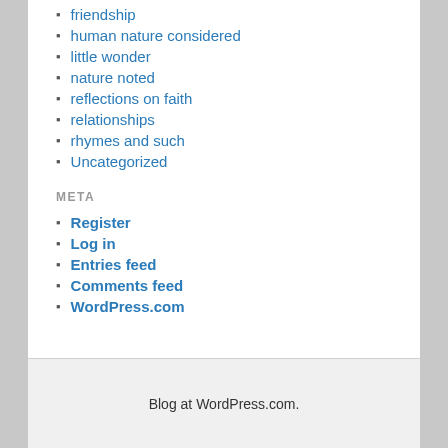friendship
human nature considered
little wonder
nature noted
reflections on faith
relationships
rhymes and such
Uncategorized
META
Register
Log in
Entries feed
Comments feed
WordPress.com
Blog at WordPress.com.